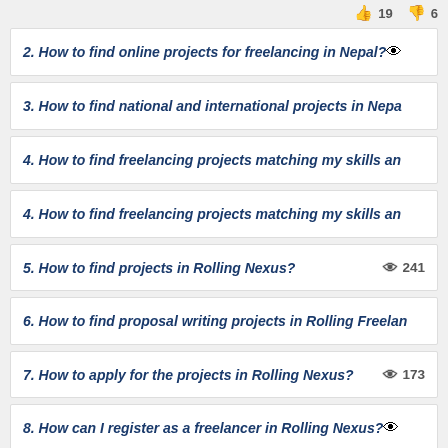👍 19  👎 6
2. How to find online projects for freelancing in Nepal?
3. How to find national and international projects in Nepa
4. How to find freelancing projects matching my skills an
4. How to find freelancing projects matching my skills an
5. How to find projects in Rolling Nexus?  👁 241
6. How to find proposal writing projects in Rolling Freelan
7. How to apply for the projects in Rolling Nexus? 👁 173
8. How can I register as a freelancer in Rolling Nexus?